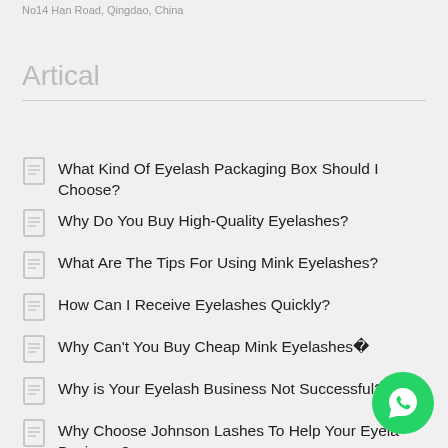No14 Han Road, Qingdao, China
Artical
What Kind Of Eyelash Packaging Box Should I Choose?
Why Do You Buy High-Quality Eyelashes?
What Are The Tips For Using Mink Eyelashes?
How Can I Receive Eyelashes Quickly?
Why Can't You Buy Cheap Mink Eyelashes�
Why is Your Eyelash Business Not Successful?
Why Choose Johnson Lashes To Help Your Eyelash Business?